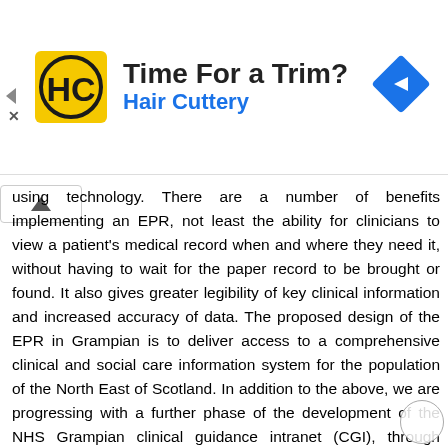[Figure (other): Advertisement banner for Hair Cuttery salon with logo, title 'Time For a Trim?', and a blue navigation icon on the right]
using technology. There are a number of benefits implementing an EPR, not least the ability for clinicians to view a patient's medical record when and where they need it, without having to wait for the paper record to be brought or found. It also gives greater legibility of key clinical information and increased accuracy of data. The proposed design of the EPR in Grampian is to deliver access to a comprehensive clinical and social care information system for the population of the North East of Scotland. In addition to the above, we are progressing with a further phase of the development of the NHS Grampian clinical guidance intranet (CGI), through collaborative working between our primary and secondary care clinicians. The CGI is populated with information on health and health related services and organisations available in Grampian. It also holds information to support good referral practice helping to ensure patients are referred to the right person in the right place every time. Quality Improvement Delivery